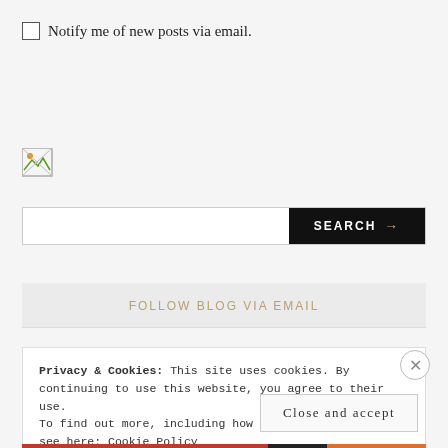Notify me of new posts via email.
[Figure (photo): Broken image placeholder icon (small, top-left area)]
SEARCH →
FOLLOW BLOG VIA EMAIL
Privacy & Cookies: This site uses cookies. By continuing to use this website, you agree to their use.
To find out more, including how to control cookies, see here: Cookie Policy
Close and accept